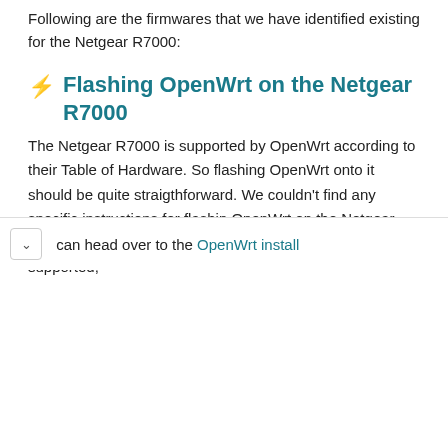Following are the firmwares that we have identified existing for the Netgear R7000:
⚡ Flashing OpenWrt on the Netgear R7000
The Netgear R7000 is supported by OpenWrt according to their Table of Hardware. So flashing OpenWrt onto it should be quite straigthforward. We couldn't find any specific instructions for flashin OpenWrt on the Netgear R7000, but since it's listed in their Table of Hardware as supported, can head over to the OpenWrt install